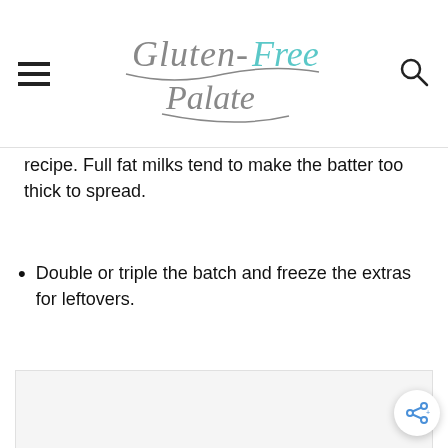Gluten-Free Palate
recipe. Full fat milks tend to make the batter too thick to spread.
Double or triple the batch and freeze the extras for leftovers.
[Figure (other): Advertisement placeholder box (light gray)]